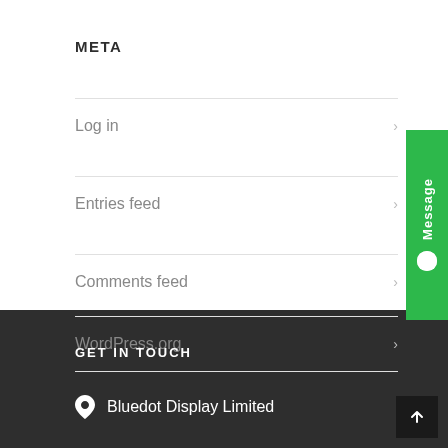META
Log in
Entries feed
Comments feed
WordPress.org
[Figure (other): Green vertical message tab with text 'Message' rotated 90 degrees and a chat bubble icon]
GET IN TOUCH
Bluedot Display Limited